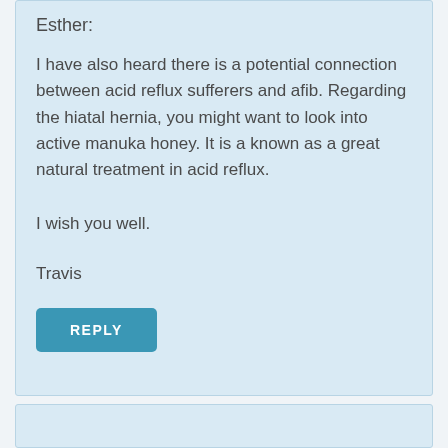Esther:
I have also heard there is a potential connection between acid reflux sufferers and afib. Regarding the hiatal hernia, you might want to look into active manuka honey. It is a known as a great natural treatment in acid reflux.
I wish you well.
Travis
REPLY